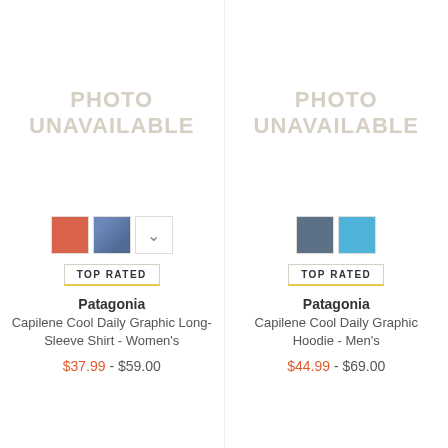[Figure (photo): Photo unavailable placeholder for product 1 (left)]
[Figure (other): Color swatches: orange, blue, more (dropdown arrow) for product 1]
TOP RATED
Patagonia
Capilene Cool Daily Graphic Long-Sleeve Shirt - Women's
$37.99 - $59.00
[Figure (photo): Photo unavailable placeholder for product 2 (right)]
[Figure (other): Color swatches: slate blue, light blue for product 2]
TOP RATED
Patagonia
Capilene Cool Daily Graphic Hoodie - Men's
$44.99 - $69.00